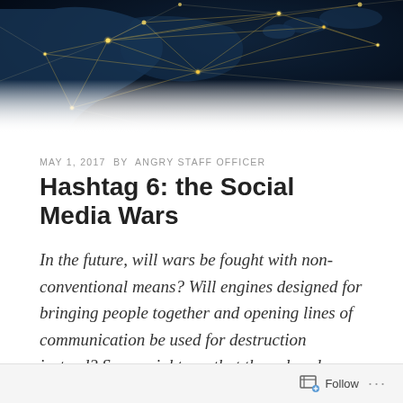[Figure (photo): Dark blue world map network visualization showing glowing connection lines between cities, viewed from above, with North America and other landmasses visible against a dark background with golden light nodes.]
MAY 1, 2017 BY ANGRY STAFF OFFICER
Hashtag 6: the Social Media Wars
In the future, will wars be fought with non-conventional means? Will engines designed for bringing people together and opening lines of communication be used for destruction instead? Some might say that they already are – all we need to do now is to militarize them. Like this.
Follow ...